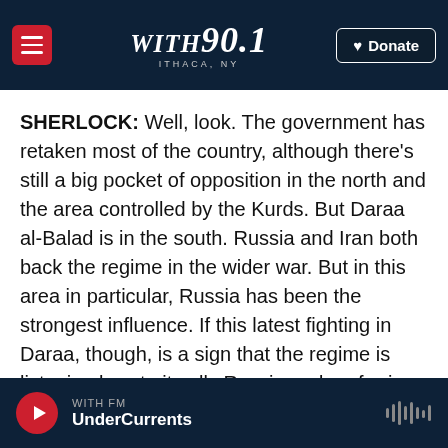with90.1 ITHACA, NY | Donate
SHERLOCK: Well, look. The government has retaken most of the country, although there's still a big pocket of opposition in the north and the area controlled by the Kurds. But Daraa al-Balad is in the south. Russia and Iran both back the regime in the wider war. But in this area in particular, Russia has been the strongest influence. If this latest fighting in Daraa, though, is a sign that the regime is listening less to its ally Russia and preferring instead to use force instead of reconciliation, that's a real concern to countries like Israel and Jordan. That's because these countries share a border with
WITH FM | UnderCurrents